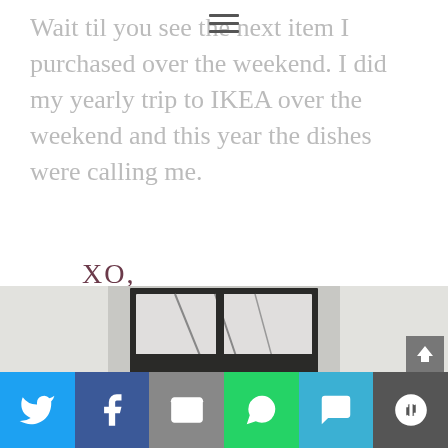navigation menu icon
Wait til you see the next item I purchased over the weekend. I did my yearly trip to IKEA over the weekend and this year the dishes were calling me.
[Figure (illustration): Handwritten script signature reading 'XO, Christine' in dark maroon/plum color]
[Figure (photo): Bottom portion of a photo showing what appears to be a dark framed window or mirror against a white background]
Social share buttons: Twitter, Facebook, Email, WhatsApp, SMS, More